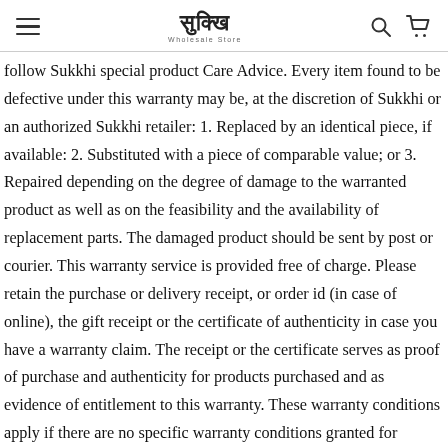Sukkhi Wholesale Store — navigation header with hamburger menu, logo, search, and cart icons
follow Sukkhi special product Care Advice. Every item found to be defective under this warranty may be, at the discretion of Sukkhi or an authorized Sukkhi retailer: 1. Replaced by an identical piece, if available: 2. Substituted with a piece of comparable value; or 3. Repaired depending on the degree of damage to the warranted product as well as on the feasibility and the availability of replacement parts. The damaged product should be sent by post or courier. This warranty service is provided free of charge. Please retain the purchase or delivery receipt, or order id (in case of online), the gift receipt or the certificate of authenticity in case you have a warranty claim. The receipt or the certificate serves as proof of purchase and authenticity for products purchased and as evidence of entitlement to this warranty. These warranty conditions apply if there are no specific warranty conditions granted for specific products. Sukkhi reserves the right to amend or adapt these